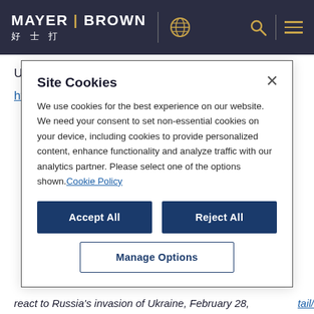MAYER BROWN 好士打
Ukraine, February 25, 2022, available at:
https://www.consilium.europa.eu/en/press/press-
Site Cookies
We use cookies for the best experience on our website. We need your consent to set non-essential cookies on your device, including cookies to provide personalized content, enhance functionality and analyze traffic with our analytics partner. Please select one of the options shown. Cookie Policy
Accept All
Reject All
Manage Options
react to Russia's invasion of Ukraine, February 28,